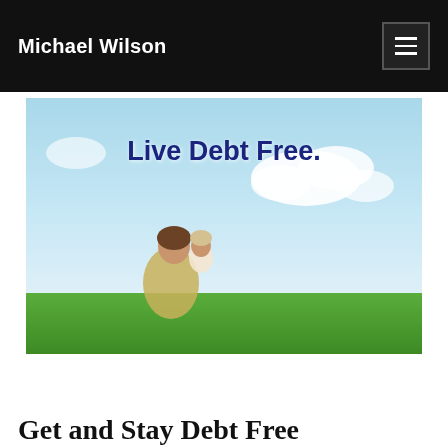Michael Wilson
[Figure (photo): Hero banner image showing a woman and young child sitting on green grass under a blue sky with clouds. Text overlay reads 'Live Debt Free.' in bold dark blue font.]
Get and Stay Debt Free